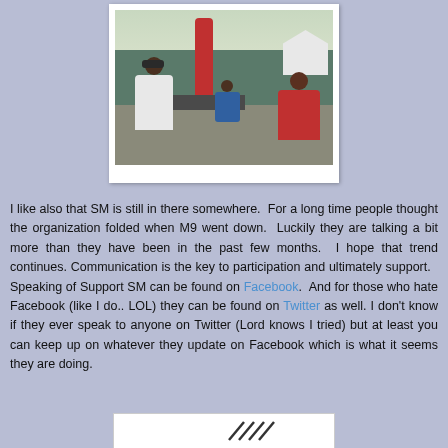[Figure (photo): Outdoor event photo showing people from behind watching a stage with a red sculptural structure, tents in background, overcast sky]
I like also that SM is still in there somewhere.  For a long time people thought the organization folded when M9 went down.  Luckily they are talking a bit more than they have been in the past few months.  I hope that trend continues.  Communication is the key to participation and ultimately support.   Speaking of Support SM can be found on Facebook.  And for those who hate Facebook (like I do.. LOL) they can be found on Twitter as well. I don't know if they ever speak to anyone on Twitter (Lord knows I tried) but at least you can keep up on whatever they update on Facebook which is what it seems they are doing.
[Figure (photo): Partial bottom image, white background with partial logo or graphic visible]